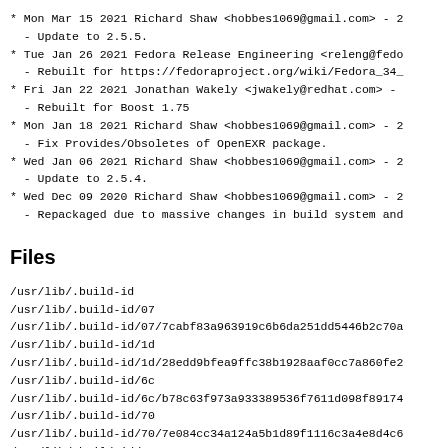* Mon Mar 15 2021 Richard Shaw <hobbes1069@gmail.com> - 2
  - Update to 2.5.5.
* Tue Jan 26 2021 Fedora Release Engineering <releng@fedo
  - Rebuilt for https://fedoraproject.org/wiki/Fedora_34_
* Fri Jan 22 2021 Jonathan Wakely <jwakely@redhat.com> -
  - Rebuilt for Boost 1.75
* Mon Jan 18 2021 Richard Shaw <hobbes1069@gmail.com> - 2
  - Fix Provides/Obsoletes of OpenEXR package.
* Wed Jan 06 2021 Richard Shaw <hobbes1069@gmail.com> - 2
  - Update to 2.5.4.
* Wed Dec 09 2020 Richard Shaw <hobbes1069@gmail.com> - 2
  - Repackaged due to massive changes in build system and
Files
/usr/lib/.build-id
/usr/lib/.build-id/07
/usr/lib/.build-id/07/7cabf83a963919c6b6da251dd5446b2c70a
/usr/lib/.build-id/1d
/usr/lib/.build-id/1d/28edd9bfea9ffc38b1928aaf0cc7a860fe2
/usr/lib/.build-id/6c
/usr/lib/.build-id/6c/b78c63f973a933389536f7611d098f89174
/usr/lib/.build-id/70
/usr/lib/.build-id/70/7e084cc34a124a5b1d89f1116c3a4e8d4c6
/usr/lib/.build-id/78
/usr/lib/.build-id/78/59bb7a956ee56760be5d1d54ae98d24d98c
/usr/lib/.build-id/9d